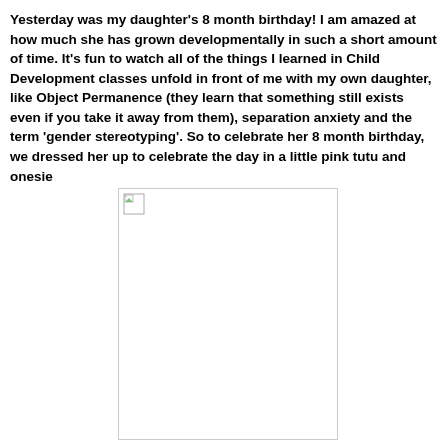Yesterday was my daughter's 8 month birthday!  I am amazed at how much she has grown developmentally in such a short amount of time. It's fun to watch all of the things I learned in Child Development classes unfold in front of me with my own daughter, like Object Permanence (they learn that something still exists even if you take it away from them), separation anxiety and the term 'gender stereotyping'. So to celebrate her 8 month birthday, we dressed her up to celebrate the day in a little pink tutu and onesie
[Figure (photo): A broken/missing image placeholder — white rectangle with a small broken image icon in the top-left corner, bordered by a thin gray line.]